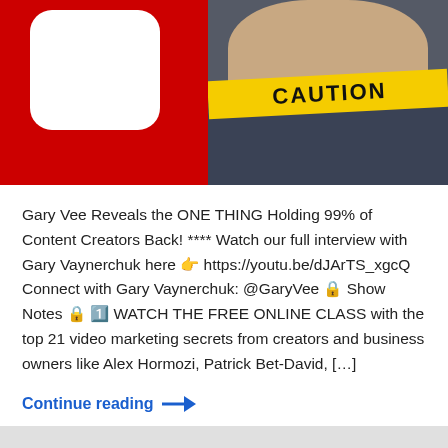[Figure (photo): Thumbnail image showing a man with yellow CAUTION tape over his mouth, a red background with a partial white YouTube logo shape on the left.]
Gary Vee Reveals the ONE THING Holding 99% of Content Creators Back! **** Watch our full interview with Gary Vaynerchuk here 👉 https://youtu.be/dJArTS_xgcQ Connect with Gary Vaynerchuk: @GaryVee 🔒 Show Notes 🔒 1️⃣ WATCH THE FREE ONLINE CLASS with the top 21 video marketing secrets from creators and business owners like Alex Hormozi, Patrick Bet-David, […]
Continue reading →